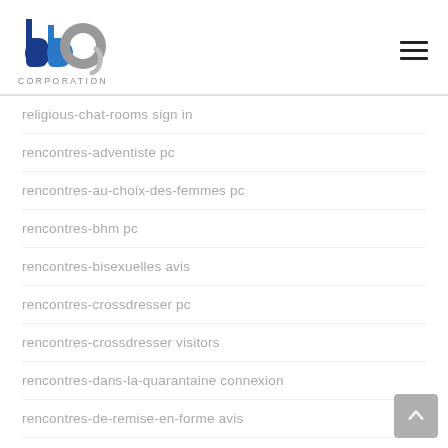[Figure (logo): BBP Corporation logo with blue and grey stylized letters 'bbo' and text CORPORATION below]
religious-chat-rooms sign in
rencontres-adventiste pc
rencontres-au-choix-des-femmes pc
rencontres-bhm pc
rencontres-bisexuelles avis
rencontres-crossdresser pc
rencontres-crossdresser visitors
rencontres-dans-la-quarantaine connexion
rencontres-de-remise-en-forme avis
rencontres-de-voyage-fr gratuit